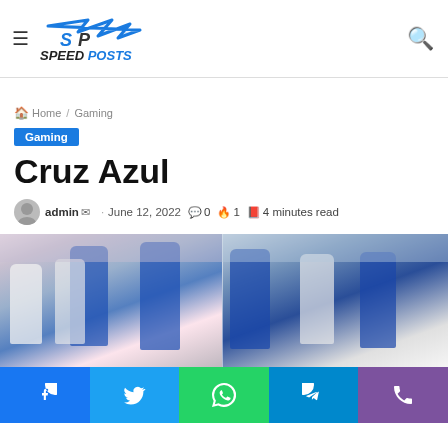Speed Posts — site header with logo, hamburger menu, and search icon
Home / Gaming
Gaming
Cruz Azul
admin · June 12, 2022  0  1  4 minutes read
[Figure (photo): Two side-by-side action photos of Cruz Azul soccer players in blue and white jerseys on the field]
Social share buttons: Facebook, Twitter, WhatsApp, Telegram, Viber